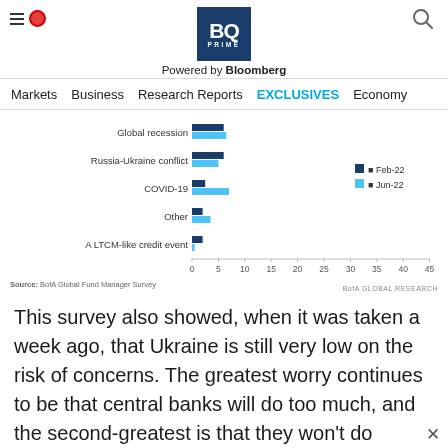BQ PRIME — Powered by Bloomberg
Markets  Business  Research Reports  EXCLUSIVES  Economy
[Figure (grouped-bar-chart): Biggest tail risk]
Source: BofA Global Fund Manager Survey
BofA GLOBAL RESEARCH
This survey also showed, when it was taken a week ago, that Ukraine is still very low on the risk of concerns. The greatest worry continues to be that central banks will do too much, and the second-greatest is that they won't do